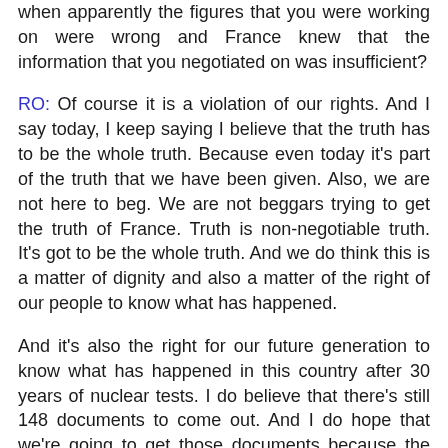been in negotiations with France for all those years when apparently the figures that you were working on were wrong and France knew that the information that you negotiated on was insufficient?
RO: Of course it is a violation of our rights. And I say today, I keep saying I believe that the truth has to be the whole truth. Because even today it's part of the truth that we have been given. Also, we are not here to beg. We are not beggars trying to get the truth of France. Truth is non-negotiable truth. It's got to be the whole truth. And we do think this is a matter of dignity and also a matter of the right of our people to know what has happened.
And it's also the right for our future generation to know what has happened in this country after 30 years of nuclear tests. I do believe that there's still 148 documents to come out. And I do hope that we're going to get those documents because the attitude of